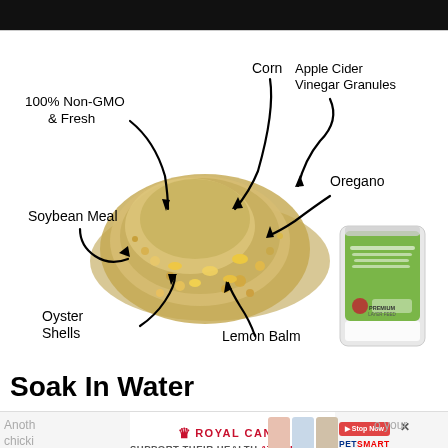[Figure (infographic): Infographic showing ingredients of a chicken feed product (labeled as 100% Non-GMO & Fresh): Corn (top center), Apple Cider Vinegar Granules (top right), Oregano (right), Soybean Meal (left), Oyster Shells (bottom left), Lemon Balm (bottom center), with a bag of Premium Layer Feed visible on the right. Arrows point from each label to a pile of grain/feed mixture in the center.]
Soak In Water
Another way to your chicki... reat